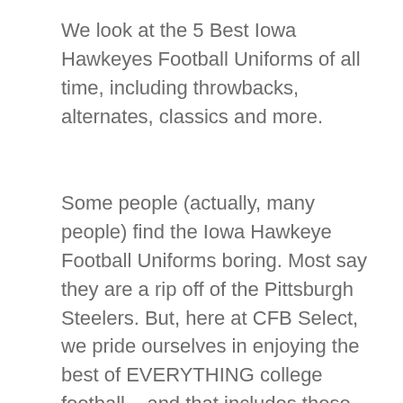We look at the 5 Best Iowa Hawkeyes Football Uniforms of all time, including throwbacks, alternates, classics and more.
Some people (actually, many people) find the Iowa Hawkeye Football Uniforms boring. Most say they are a rip off of the Pittsburgh Steelers. But, here at CFB Select, we pride ourselves in enjoying the best of EVERYTHING college football – and that includes these black and gold classic. Below we look at some of the best Hawkeye Football uniforms of all time.